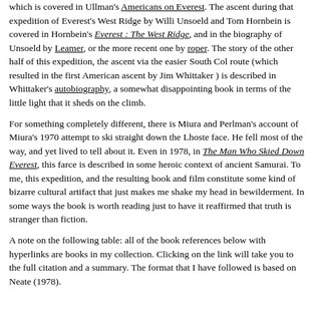which is covered in Ullman's Americans on Everest. The ascent during that expedition of Everest's West Ridge by Willi Unsoeld and Tom Hornbein is covered in Hornbein's Everest : The West Ridge, and in the biography of Unsoeld by Leamer, or the more recent one by roper. The story of the other half of this expedition, the ascent via the easier South Col route (which resulted in the first American ascent by Jim Whittaker ) is described in Whittaker's autobiography, a somewhat disappointing book in terms of the little light that it sheds on the climb.
For something completely different, there is Miura and Perlman's account of Miura's 1970 attempt to ski straight down the Lhoste face. He fell most of the way, and yet lived to tell about it. Even in 1978, in The Man Who Skied Down Everest, this farce is described in some heroic context of ancient Samurai. To me, this expedition, and the resulting book and film constitute some kind of bizarre cultural artifact that just makes me shake my head in bewilderment. In some ways the book is worth reading just to have it reaffirmed that truth is stranger than fiction.
A note on the following table:  all of the book references below with hyperlinks are books in my collection.  Clicking on the link will take you to the full citation and a summary.  The format that I have followed is based on Neate (1978).